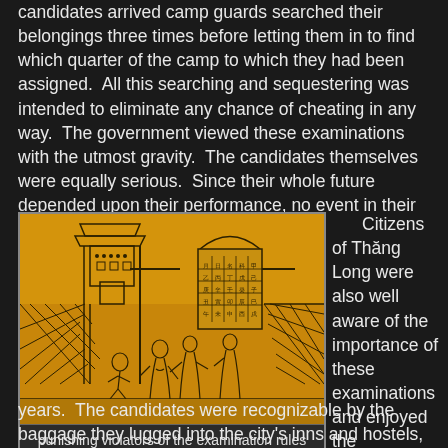candidates arrived camp guards searched their belongings three times before letting them in to find which quarter of the camp to which they had been assigned.  All this searching and sequestering was intended to eliminate any chance of cheating in any way.  The government viewed these examinations with the utmost gravity.  The candidates themselves were equally serious.  Since their whole future depended upon their performance, no event in their lives until now was as important.
[Figure (illustration): Vietnamese traditional illustration on golden/orange background showing figures at an examination compound with a pagoda gate, latticed fences, and a notice board with characters. Several robed scholars or officials are depicted.]
punishing violators of the examination rules
Citizens of Thăng Long were also well aware of the importance of these examinations and enjoyed the excitement when the scholars thronged the city every three years.  The candidates were recognizable by the baggage they lugged into the city's inns and hostels, containing the